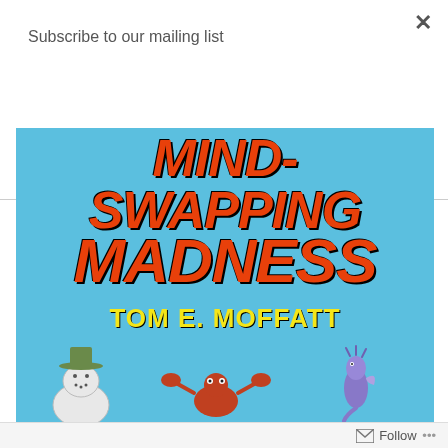Subscribe to our mailing list
Subscribe
[Figure (illustration): Book cover for 'Mind-Swapping Madness' by Tom E. Moffatt. Light blue background with large orange bold italic text reading 'MIND-SWAPPING MADNESS' and author name in yellow 'TOM E. MOFFATT'. Bottom shows cartoon characters including a snowman with a cowboy hat, a crab, a seahorse, and a fantastical creature.]
Follow ...